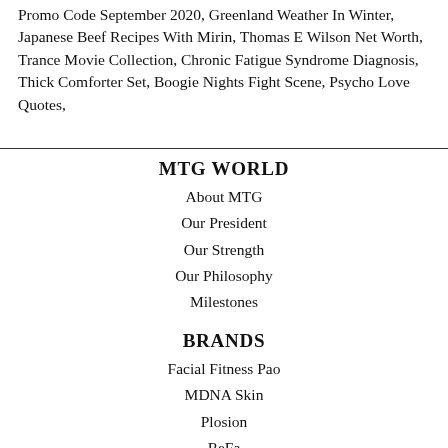Promo Code September 2020, Greenland Weather In Winter, Japanese Beef Recipes With Mirin, Thomas E Wilson Net Worth, Trance Movie Collection, Chronic Fatigue Syndrome Diagnosis, Thick Comforter Set, Boogie Nights Fight Scene, Psycho Love Quotes,
MTG WORLD
About MTG
Our President
Our Strength
Our Philosophy
Milestones
BRANDS
Facial Fitness Pao
MDNA Skin
Plosion
ReFa
ReFa ACTIVE
Sixpad